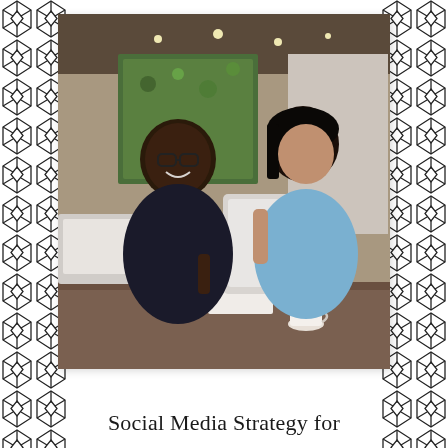[Figure (photo): Two professionals sitting at a cafe/restaurant table. A smiling Black man wearing glasses and a dark blazer holds a pen and notebook. An Asian woman in a light blue cardigan holds a tablet and appears to be presenting something. Coffee cup visible on table. Modern restaurant interior with greenery in background.]
Social Media Strategy for